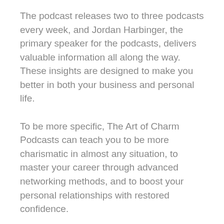The podcast releases two to three podcasts every week, and Jordan Harbinger, the primary speaker for the podcasts, delivers valuable information all along the way. These insights are designed to make you better in both your business and personal life.
To be more specific, The Art of Charm Podcasts can teach you to be more charismatic in almost any situation, to master your career through advanced networking methods, and to boost your personal relationships with restored confidence.
Like with The Hardcore Closer Podcast and The Social Media Pubcast, this is obviously not a dedicated car dealer